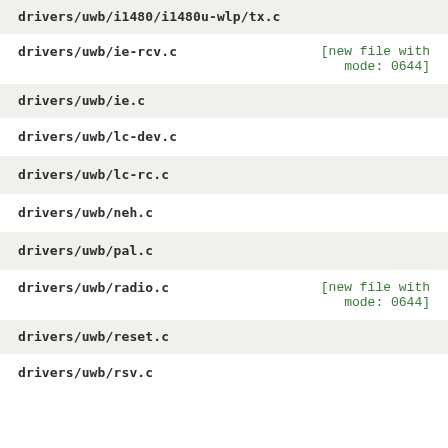drivers/uwb/i1480/i1480u-wlp/tx.c
drivers/uwb/ie-rcv.c [new file with mode: 0644]
drivers/uwb/ie.c
drivers/uwb/lc-dev.c
drivers/uwb/lc-rc.c
drivers/uwb/neh.c
drivers/uwb/pal.c
drivers/uwb/radio.c [new file with mode: 0644]
drivers/uwb/reset.c
drivers/uwb/rsv.c